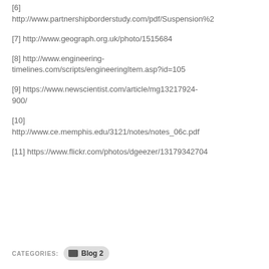[6] http://www.partnershipborderstudy.com/pdf/Suspension%2
[7] http://www.geograph.org.uk/photo/1515684
[8] http://www.engineering-timelines.com/scripts/engineeringItem.asp?id=105
[9] https://www.newscientist.com/article/mg13217924-900/
[10] http://www.ce.memphis.edu/3121/notes/notes_06c.pdf
[11] https://www.flickr.com/photos/dgeezer/13179342704
CATEGORIES: Blog 2